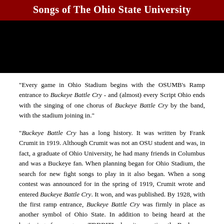Songs of The Ohio State University
[Figure (photo): Black image area, likely a photo or video still related to The Ohio State University Marching Band]
"Every game in Ohio Stadium begins with the OSUMB's Ramp entrance to Buckeye Battle Cry - and (almost) every Script Ohio ends with the singing of one chorus of Buckeye Battle Cry by the band, with the stadium joining in."
"Buckeye Battle Cry has a long history. It was written by Frank Crumit in 1919. Although Crumit was not an OSU student and was, in fact, a graduate of Ohio University, he had many friends in Columbus and was a Buckeye fan. When planning began for Ohio Stadium, the search for new fight songs to play in it also began. When a song contest was announced for in the spring of 1919, Crumit wrote and entered Buckeye Battle Cry. It won, and was published. By 1928, with the first ramp entrance, Buckeye Battle Cry was firmly in place as another symbol of Ohio State. In addition to being heard at the beginning of every game, TBDBITL plays it every time the Buckeye